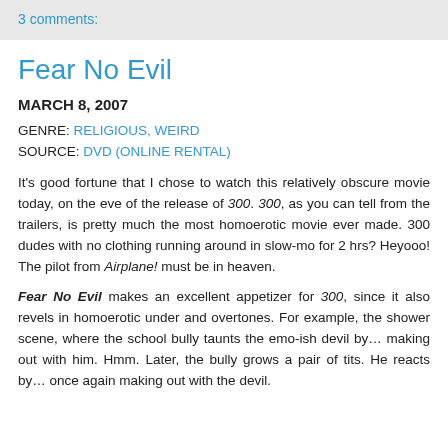3 comments:
Fear No Evil
MARCH 8, 2007
GENRE: RELIGIOUS, WEIRD
SOURCE: DVD (ONLINE RENTAL)
It's good fortune that I chose to watch this relatively obscure movie today, on the eve of the release of 300. 300, as you can tell from the trailers, is pretty much the most homoerotic movie ever made. 300 dudes with no clothing running around in slow-mo for 2 hrs? Heyooo! The pilot from Airplane! must be in heaven.
Fear No Evil makes an excellent appetizer for 300, since it also revels in homoerotic under and overtones. For example, the shower scene, where the school bully taunts the emo-ish devil by… making out with him. Hmm. Later, the bully grows a pair of tits. He reacts by… once again making out with the devil.